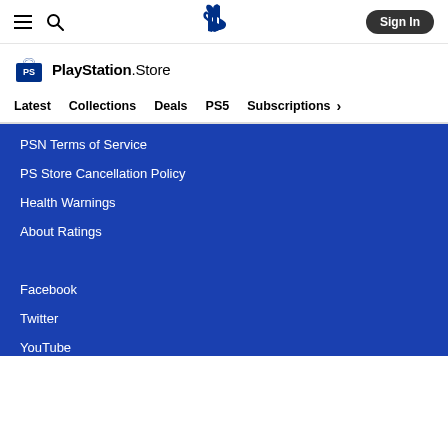PlayStation Store navigation header with hamburger menu, search, PlayStation logo, and Sign In button
[Figure (logo): PlayStation Store logo with shopping bag icon and text 'PlayStation Store']
Latest  Collections  Deals  PS5  Subscriptions >
PSN Terms of Service
PS Store Cancellation Policy
Health Warnings
About Ratings
Facebook
Twitter
YouTube